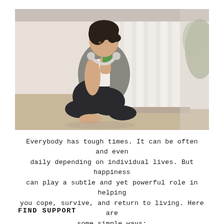[Figure (photo): A young Asian woman sitting cross-legged on a mat near a window with white curtains, wearing athletic wear and headphones around her neck, holding a green smoothie drink, relaxed and contemplative.]
Everybody has tough times. It can be often and even daily depending on individual lives. But happiness can play a subtle and yet powerful role in helping you cope, survive, and return to living. Here are some simple ways:
FIND SUPPORT